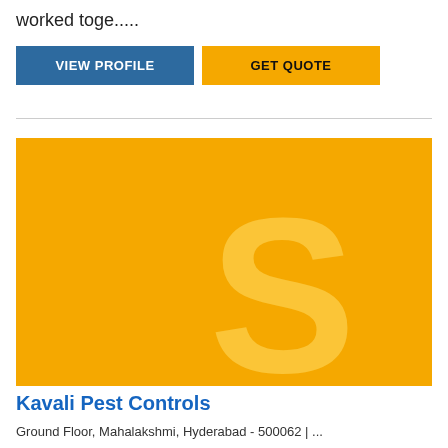worked toge.....
VIEW PROFILE
GET QUOTE
[Figure (logo): Yellow background with large semi-transparent letter S — business listing card image for Kavali Pest Controls]
Kavali Pest Controls
Ground Floor, Mahalakshmi, Hyderabad - 500062 | ...